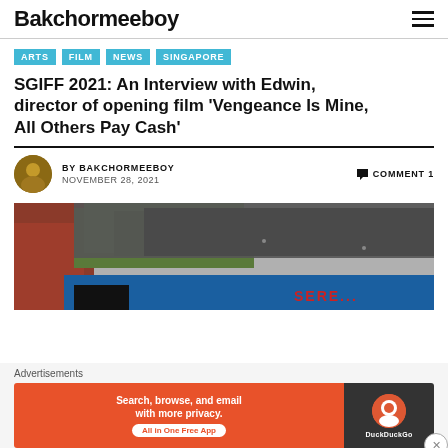Bakchormeeboy
ARTS
FILM
NEWS
SINGAPORE
SGIFF 2021: An Interview with Edwin, director of opening film ‘Vengeance Is Mine, All Others Pay Cash’
BY BAKCHORMEEBOY  COMMENT 1
NOVEMBER 28, 2021
[Figure (photo): Outdoor scene with a blue truck or vehicle partially visible, trees in background, dark tarpaulin overhead, with partial red text on blue surface]
Advertisements
[Figure (infographic): DuckDuckGo advertisement banner: orange left panel with text 'Search, browse, and email with more privacy. All in One Free App', dark right panel with DuckDuckGo logo]